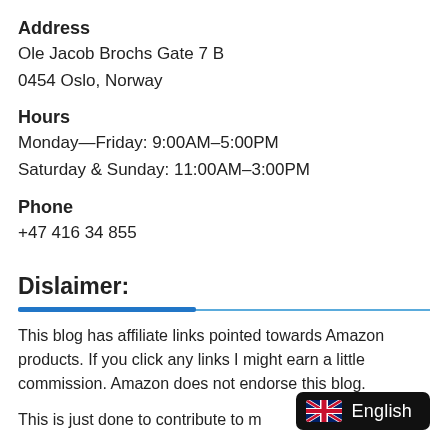Address
Ole Jacob Brochs Gate 7 B
0454 Oslo, Norway
Hours
Monday—Friday: 9:00AM–5:00PM
Saturday & Sunday: 11:00AM–3:00PM
Phone
+47 416 34 855
Dislaimer:
This blog has affiliate links pointed towards Amazon products. If you click any links I might earn a little commission. Amazon does not endorse this blog.
This is just done to contribute to my information.
[Figure (other): English language selector badge with UK flag icon on dark background]